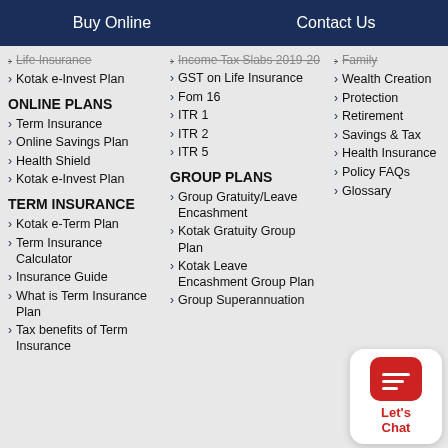Buy Online   Contact Us
Life Insurance (strikethrough)
Kotak e-Invest Plan
ONLINE PLANS
Term Insurance
Online Savings Plan
Health Shield
Kotak e-Invest Plan
TERM INSURANCE
Kotak e-Term Plan
Term Insurance Calculator
Insurance Guide
What is Term Insurance Plan
Tax benefits of Term Insurance
Income Tax Slabs 2019-20
GST on Life Insurance
Fom 16
ITR 1
ITR 2
ITR 5
GROUP PLANS
Group Gratuity/Leave Encashment
Kotak Gratuity Group Plan
Kotak Leave Encashment Group Plan
Group Superannuation
Family
Wealth Creation
Protection
Retirement
Savings & Tax
Health Insurance
Policy FAQs
Glossary
[Figure (illustration): Red chat button with white lines icon and 'Let's Chat' label in red text on white rounded rectangle]